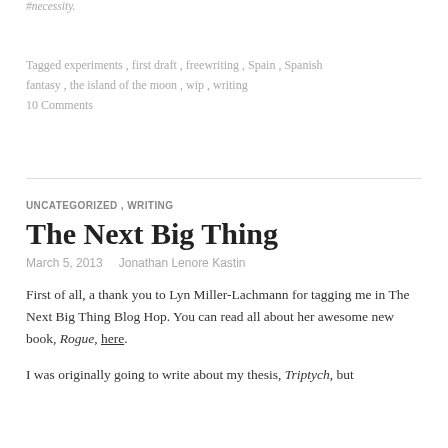#necessity.
Tagged experiments , first draft , freewriting , Spain , Spanish fantasy , the island of the moon , wip , writing
10 Comments
UNCATEGORIZED , WRITING
The Next Big Thing
March 5, 2013   Jonathan Lenore Kastin
First of all, a thank you to Lyn Miller-Lachmann for tagging me in The Next Big Thing Blog Hop. You can read all about her awesome new book, Rogue, here.
I was originally going to write about my thesis, Triptych, but